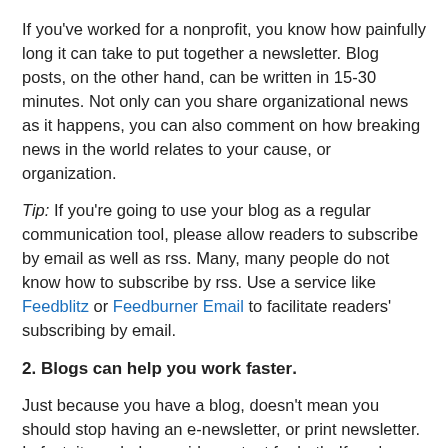If you've worked for a nonprofit, you know how painfully long it can take to put together a newsletter. Blog posts, on the other hand, can be written in 15-30 minutes. Not only can you share organizational news as it happens, you can also comment on how breaking news in the world relates to your cause, or organization.
Tip: If you're going to use your blog as a regular communication tool, please allow readers to subscribe by email as well as rss. Many, many people do not know how to subscribe by rss. Use a service like Feedblitz or Feedburner Email to facilitate readers' subscribing by email.
2. Blogs can help you work faster.
Just because you have a blog, doesn't mean you should stop having an e-newsletter, or print newsletter. In fact, it can help provide content for both. If you've been posting on your organization's blog regularly, you'll have lots of content to pull from when you sit down to write your newsletter. If you're writing an e-newsletter, you can point back to the original